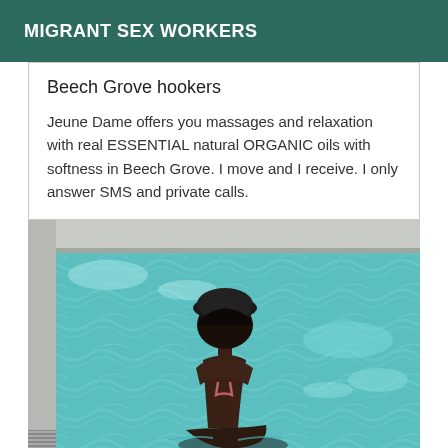MIGRANT SEX WORKERS
Beech Grove hookers
Jeune Dame offers you massages and relaxation with real ESSENTIAL natural ORGANIC oils with softness in Beech Grove. I move and I receive. I only answer SMS and private calls.
[Figure (photo): Woman in bikini sitting by a swimming pool, viewed from behind, dark hair with beret-style hat, bright turquoise pool water visible]